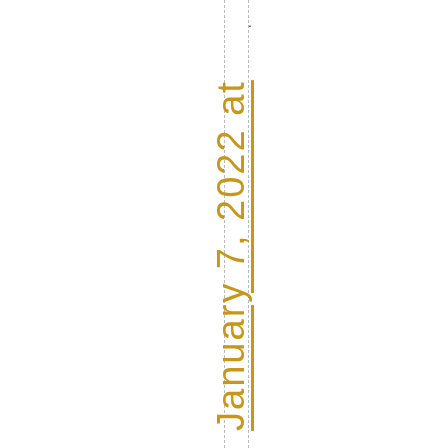.
AndreaRossi January 7, 2022 at